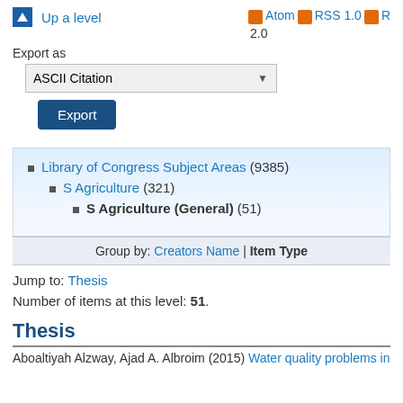Up a level
Export as   Atom  RSS 1.0  RSS 2.0
ASCII Citation
Export
Library of Congress Subject Areas (9385)
S Agriculture (321)
S Agriculture (General) (51)
Group by: Creators Name | Item Type
Jump to: Thesis
Number of items at this level: 51.
Thesis
Aboaltiyah Alzway, Ajad A. Albroim (2015) Water quality problems in